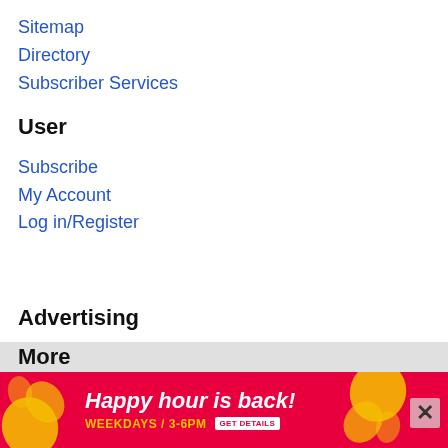Sitemap
Directory
Subscriber Services
User
Subscribe
My Account
Log in/Register
Advertising
Triple-Nine Digital
Print & Digital Advertising
Classifieds
Obituaries
More
[Figure (infographic): Advertisement banner: red background with yellow swirl decorations, text 'Happy hour is back!' in white italic bold font, 'WEEKDAYS / 3-6PM' in yellow with 'GET DETAILS' button, and an X close button]